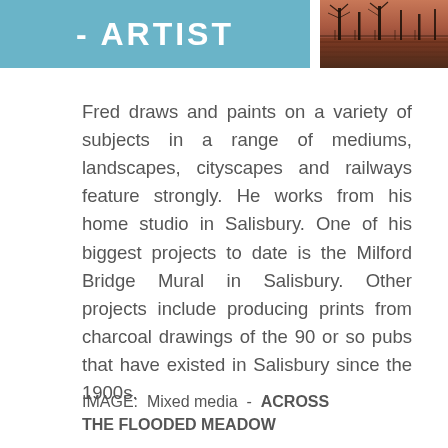- ARTIST
[Figure (photo): Landscape photo showing bare trees reflected in flooded water with warm pinkish-red tones]
Fred draws and paints on a variety of subjects in a range of mediums, landscapes, cityscapes and railways feature strongly. He works from his home studio in Salisbury. One of his biggest projects to date is the Milford Bridge Mural in Salisbury. Other projects include producing prints from charcoal drawings of the 90 or so pubs that have existed in Salisbury since the 1900s.
IMAGE:  Mixed media  -  ACROSS THE FLOODED MEADOW